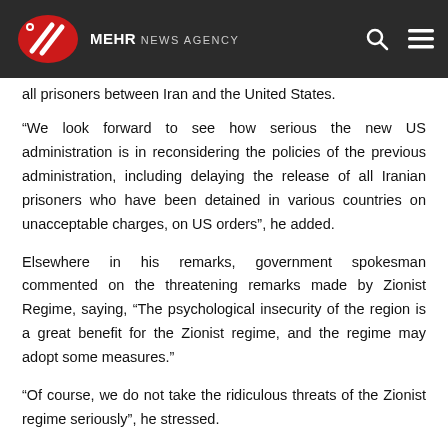MEHR NEWS AGENCY
all prisoners between Iran and the United States.
“We look forward to see how serious the new US administration is in reconsidering the policies of the previous administration, including delaying the release of all Iranian prisoners who have been detained in various countries on unacceptable charges, on US orders”, he added.
Elsewhere in his remarks, government spokesman commented on the threatening remarks made by Zionist Regime, saying, “The psychological insecurity of the region is a great benefit for the Zionist regime, and the regime may adopt some measures.”
“Of course, we do not take the ridiculous threats of the Zionist regime seriously”, he stressed.
RHM/5165486
News Code 170888